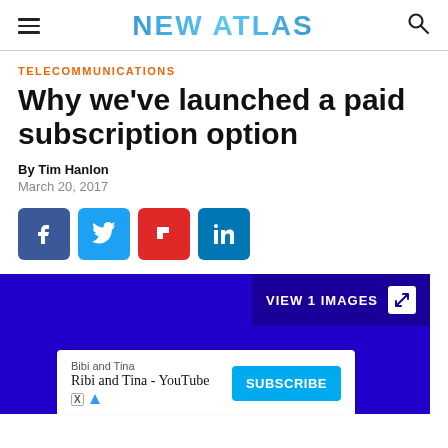NEW ATLAS
TELECOMMUNICATIONS
Why we've launched a paid subscription option
By Tim Hanlon
March 20, 2017
[Figure (other): Social share buttons: Facebook, Twitter, Flipboard, LinkedIn]
[Figure (other): Hero image area with dark blue/purple background. 'VIEW 1 IMAGES' button in top right. New Atlas ad overlay at bottom showing 'Bibi and Tina - YouTube' with Subscribe button.]